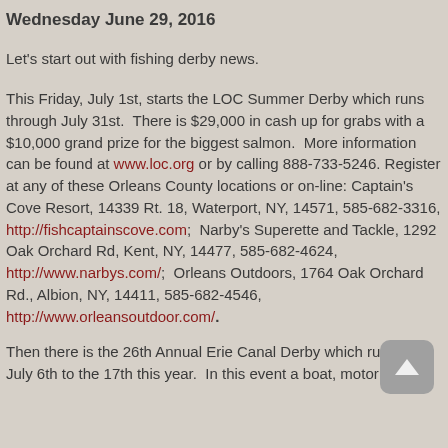Wednesday June 29, 2016
Let's start out with fishing derby news.
This Friday, July 1st, starts the LOC Summer Derby which runs through July 31st.  There is $29,000 in cash up for grabs with a $10,000 grand prize for the biggest salmon.  More information can be found at www.loc.org or by calling 888-733-5246. Register at any of these Orleans County locations or on-line: Captain's Cove Resort, 14339 Rt. 18, Waterport, NY, 14571, 585-682-3316, http://fishcaptainscove.com;  Narby's Superette and Tackle, 1292 Oak Orchard Rd, Kent, NY, 14477, 585-682-4624, http://www.narbys.com/;  Orleans Outdoors, 1764 Oak Orchard Rd., Albion, NY, 14411, 585-682-4546, http://www.orleansoutdoor.com/.
Then there is the 26th Annual Erie Canal Derby which runs from July 6th to the 17th this year.  In this event a boat, motor